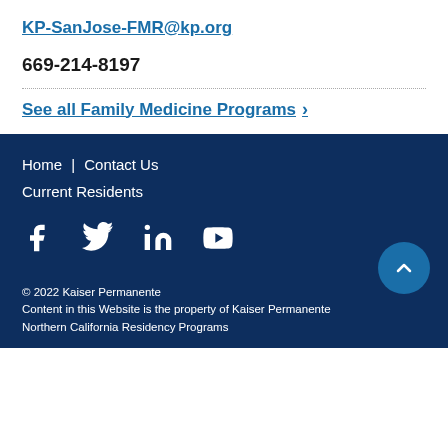KP-SanJose-FMR@kp.org
669-214-8197
See all Family Medicine Programs >
Home | Contact Us
Current Residents
[Figure (other): Social media icons: Facebook, Twitter, LinkedIn, YouTube]
© 2022 Kaiser Permanente
Content in this Website is the property of Kaiser Permanente Northern California Residency Programs